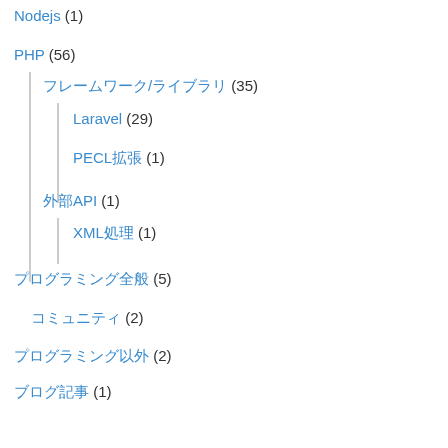Nodejs (1)
PHP (56)
フレームワーク/ライブラリ (35)
Laravel (29)
PECL拡張 (1)
外部API (1)
XML処理 (1)
プログラミング全般 (5)
コミュニティ (2)
プログラミング以外 (2)
ブログ記事 (1)
ポエム・コラム (17)
まとめ記事 (4)